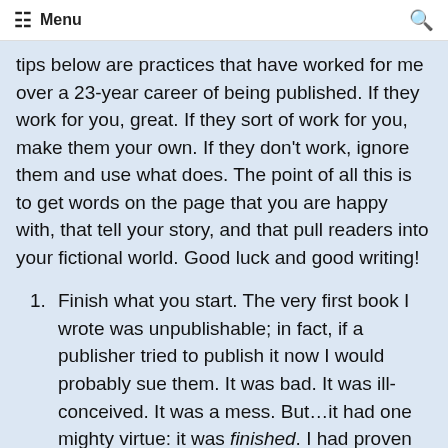Menu
tips below are practices that have worked for me over a 23-year career of being published. If they work for you, great. If they sort of work for you, make them your own. If they don't work, ignore them and use what does. The point of all this is to get words on the page that you are happy with, that tell your story, and that pull readers into your fictional world. Good luck and good writing!
Finish what you start. The very first book I wrote was unpublishable; in fact, if a publisher tried to publish it now I would probably sue them. It was bad. It was ill-conceived. It was a mess. But…it had one mighty virtue: it was finished. I had proven to myself that I could write an 85,000-word novel, complete it in a timely fashion, and recognize both its (limited) strengths and its (many) weaknesses. It